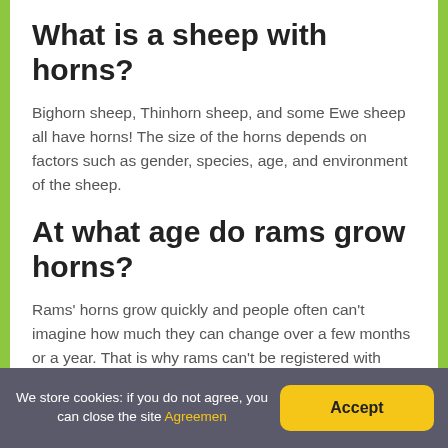What is a sheep with horns?
Bighorn sheep, Thinhorn sheep, and some Ewe sheep all have horns! The size of the horns depends on factors such as gender, species, age, and environment of the sheep.
At what age do rams grow horns?
Rams' horns grow quickly and people often can't imagine how much they can change over a few months or a year. That is why rams can't be registered with JSBA until they are at least six
We store cookies: if you do not agree, you can close the site Agreemen